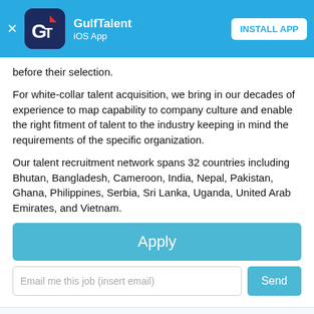[Figure (screenshot): GulfTalent iOS App install banner with logo, app name, and INSTALL APP button]
before their selection.
For white-collar talent acquisition, we bring in our decades of experience to map capability to company culture and enable the right fitment of talent to the industry keeping in mind the requirements of the specific organization.
Our talent recruitment network spans 32 countries including Bhutan, Bangladesh, Cameroon, India, Nepal, Pakistan, Ghana, Philippines, Serbia, Sri Lanka, Uganda, United Arab Emirates, and Vietnam.
[Figure (other): Apply button (teal/blue)]
[Figure (other): Email me this job input field and Send button]
Explore GroupL careers
Receive relevant jobs by email